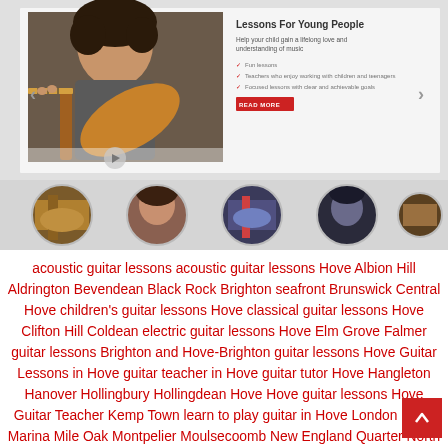[Figure (photo): Website screenshot showing guitar lessons for young people. Top banner with a boy playing guitar on the left and promotional text on the right including 'Lessons For Young People' heading, subtitle 'Help your child gain a lifelong love and understanding of music', checklist items, and a red READ MORE button. Below the banner is a row of five circular thumbnail images of guitar-related photos.]
acoustic guitar lessons acoustic guitar lessons Hove Albion Hill Aldrington Bevendean Black Rock Brighton seafront Brunswick Central Hove children's guitar lessons Hove classical guitar lessons Hove Clifton Hill Coldean electric guitar lessons Hove Elm Grove Falmer guitar lessons Brighton and Hove-Brighton guitar lessons Hove Guitar Lessons in Hove guitar teacher in Hove guitar tutor Hove Hangleton Hanover Hollingbury Hollingdean Hove Hove guitar lessons Hove Guitar Teacher Kemp Town learn to play guitar in Hove London Road Marina Mile Oak Montpelier Moulsecoomb New England Quarter North Laine Old Steine Old Town Ovingdean